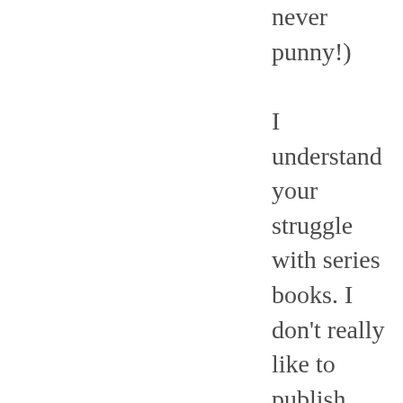never punny!)

I understand your struggle with series books. I don't really like to publish reviews for series novels, I've found lately. I used to almost exclusively read